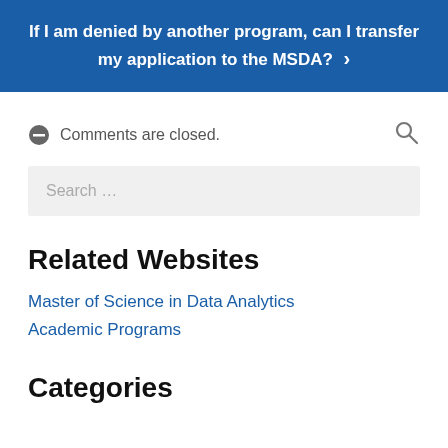If I am denied by another program, can I transfer my application to the MSDA? ›
Comments are closed.
Search …
Related Websites
Master of Science in Data Analytics
Academic Programs
Categories